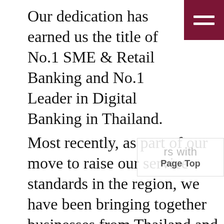Our dedication has earned us the title of No.1 SME & Retail Banking and No.1 Leader in Digital Banking in Thailand.
Most recently, as part of our move to raise our service standards in the region, we have been bringing together businesses from Thailand and Japan via our AEC+3 Business Matching service. Through this, Thai and Japanese firms have been able to meet with partners with high financial reliability, which has helped them to enter new markets, acquire new product sources and capture new business opportunities. Since the launch